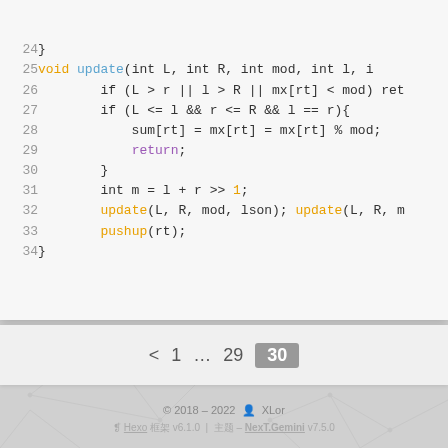[Figure (screenshot): Code editor screenshot showing C++ segment tree update function, lines 24-34, with syntax highlighting: orange keywords (void, update, pushup), purple return, gray line numbers.]
< 1 ... 29 30
© 2018 – 2022  XLor
❡ Hexo 框架 v6.1.0 | 主题 – NexT.Gemini v7.5.0